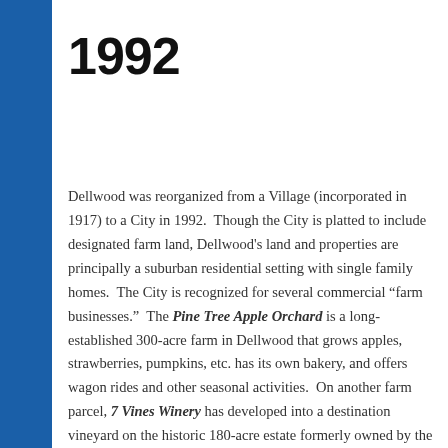1992
Dellwood was reorganized from a Village (incorporated in 1917) to a City in 1992. Though the City is platted to include designated farm land, Dellwood's land and properties are principally a suburban residential setting with single family homes. The City is recognized for several commercial “farm businesses.” The Pine Tree Apple Orchard is a long-established 300-acre farm in Dellwood that grows apples, strawberries, pumpkins, etc. has its own bakery, and offers wagon rides and other seasonal activities. On another farm parcel, 7 Vines Winery has developed into a destination vineyard on the historic 180-acre estate formerly owned by the family of railroad magnate James J Hill.